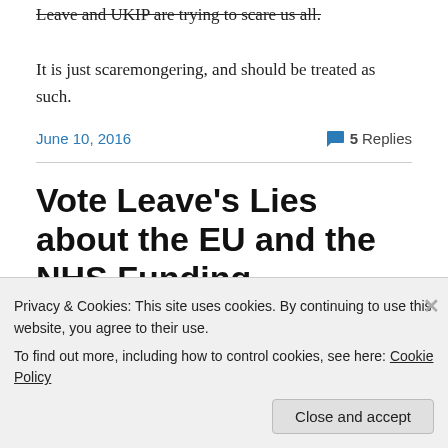Leave and UKIP are trying to scare us all.
It is just scaremongering, and should be treated as such.
June 10, 2016
5 Replies
Vote Leave's Lies about the EU and the NHS Funding
Privacy & Cookies: This site uses cookies. By continuing to use this website, you agree to their use.
To find out more, including how to control cookies, see here: Cookie Policy